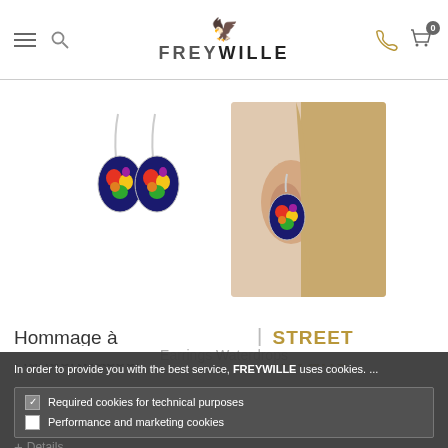[Figure (screenshot): FREYWILLE website header with hamburger menu, search icon, FREYWILLE logo with griffin, phone icon, and shopping cart with 0 items]
[Figure (photo): Two FREYWILLE Hommage à Hundertwasser earrings waterdrops shown as product images - left shows pair of earrings flat, right shows earring worn on a woman's ear]
Hommage à Hundertwasser | STREET RIVERS
Earrings Waterdrops
In order to provide you with the best service, FREYWILLE uses cookies. ...
Required cookies for technical purposes
Performance and marketing cookies
I agree
Accept all
+ Details